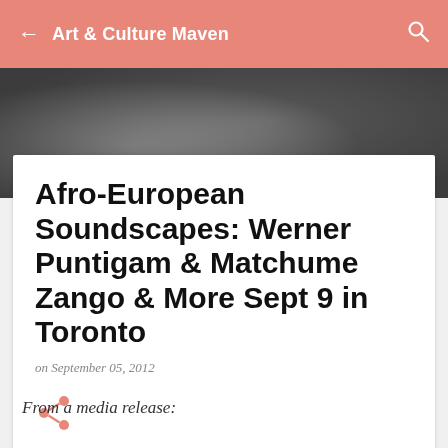Art & Culture Maven
[Figure (photo): Blurred dark grey and silver abstract background hero image]
Afro-European Soundscapes: Werner Puntigam & Matchume Zango & More Sept 9 in Toronto
on September 05, 2012
[Figure (other): Share icon in salmon/orange color]
From a media release: